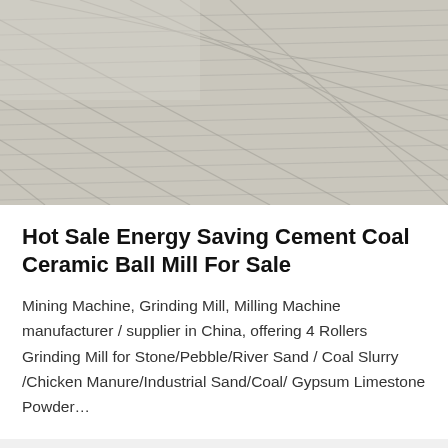[Figure (photo): Close-up photo of a textured grey cement or stone slab surface with parallel grooves/lines running diagonally]
Hot Sale Energy Saving Cement Coal Ceramic Ball Mill For Sale
Mining Machine, Grinding Mill, Milling Machine manufacturer / supplier in China, offering 4 Rollers Grinding Mill for Stone/Pebble/River Sand / Coal Slurry /Chicken Manure/Industrial Sand/Coal/ Gypsum Limestone Powder…
[Figure (photo): Photo of industrial mining/drilling equipment including an orange-red toothed wheel/gear and a metal ladder structure against a light wall]